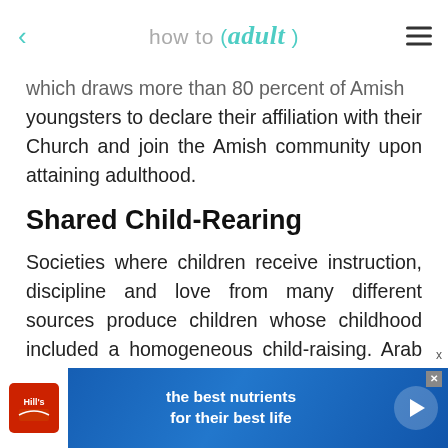how to (adult)
which draws more than 80 percent of Amish youngsters to declare their affiliation with their Church and join the Amish community upon attaining adulthood.
Shared Child-Rearing
Societies where children receive instruction, discipline and love from many different sources produce children whose childhood included a homogeneous child-raising. Arab children often grow up in an extended family that includes grandparents and numerous aunts, uncles and cousins. The extended family dictates the life of the children who belong to
[Figure (screenshot): Hill's pet nutrition advertisement banner: 'the best nutrients for their best life' with Hill's logo and play button]